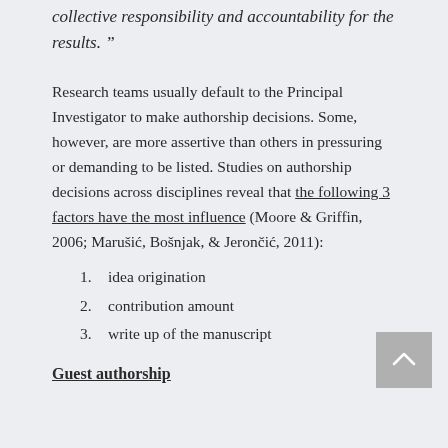collective responsibility and accountability for the results.”
Research teams usually default to the Principal Investigator to make authorship decisions. Some, however, are more assertive than others in pressuring or demanding to be listed. Studies on authorship decisions across disciplines reveal that the following 3 factors have the most influence (Moore & Griffin, 2006; Marušić, Bošnjak, & Jerončić, 2011):
1. idea origination
2. contribution amount
3. write up of the manuscript
Guest authorship